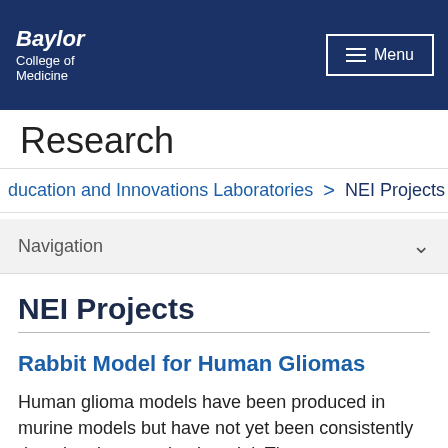Baylor College of Medicine — Menu header
Research
ducation and Innovations Laboratories > NEI Projects
Navigation
NEI Projects
Rabbit Model for Human Gliomas
Human glioma models have been produced in murine models but have not yet been consistently done in a larger animal model. The